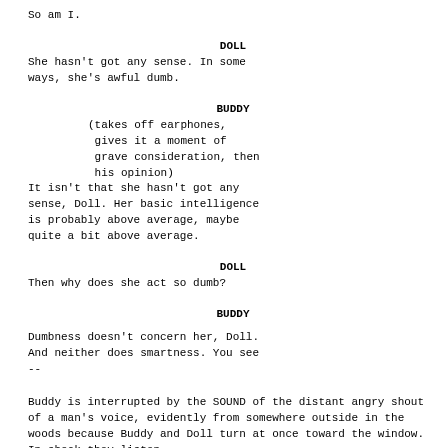So am I.
DOLL
She hasn't got any sense. In some ways, she's awful dumb.
BUDDY
(takes off earphones,
 gives it a moment of
 grave consideration, then
 his opinion)
It isn't that she hasn't got any sense, Doll. Her basic intelligence is probably above average, maybe quite a bit above average.
DOLL
Then why does she act so dumb?
BUDDY
Dumbness doesn't concern her, Doll. And neither does smartness. You see --
Buddy is interrupted by the SOUND of the distant angry shout of a man's voice, evidently from somewhere outside in the woods because Buddy and Doll turn at once toward the window. In shock they listen.
FIRST MAN'S VOICE
You son of a bitch, what are you doing here?!